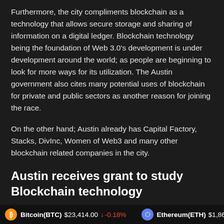Furthermore, the city compliments blockchain as a technology that allows secure storage and sharing of information on a digital ledger. Blockchain technology being the foundation of Web 3.0's development is under development around the world; as people are beginning to look for more ways for its utilization. The Austin government also cites many potential uses of blockchain for private and public sectors as another reason for joining the race.
On the other hand; Austin already has Capital Factory, Stacks, DivInc, Women of Web3 and many other blockchain related companies in the city.
Austin receives grant to study Blockchain technology
Bitcoin(BTC) $23,414.00 ↓ -0.18%    Ethereum(ETH) $1,868.99